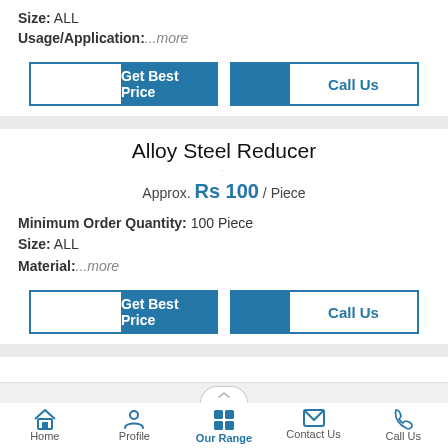Size: ALL
Usage/Application: ...more
[Figure (screenshot): Get Best Price and Call Us buttons - first set]
Alloy Steel Reducer
Approx. Rs 100 / Piece
Minimum Order Quantity: 100 Piece
Size: ALL
Material: ...more
[Figure (screenshot): Get Best Price and Call Us buttons - second set]
Home | Profile | Our Range | Contact Us | Call Us